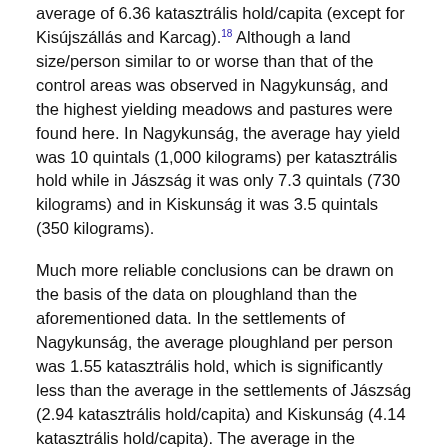average of 6.36 katasztrális hold/capita (except for Kisújszállás and Karcag).18 Although a land size/person similar to or worse than that of the control areas was observed in Nagykunság, and the highest yielding meadows and pastures were found here. In Nagykunság, the average hay yield was 10 quintals (1,000 kilograms) per katasztrális hold while in Jászság it was only 7.3 quintals (730 kilograms) and in Kiskunság it was 3.5 quintals (350 kilograms).
Much more reliable conclusions can be drawn on the basis of the data on ploughland than the aforementioned data. In the settlements of Nagykunság, the average ploughland per person was 1.55 katasztrális hold, which is significantly less than the average in the settlements of Jászság (2.94 katasztrális hold/capita) and Kiskunság (4.14 katasztrális hold/capita). The average in the settlements of Nagykunság lags behind the average in the settlements of Heves- and Külső-Szolnok (1.96 katasztrális hold/capita), Moson- (1.74 katasztrális hold/capita) and Győr County (1.68 katasztrális hold/capita), but it far exceeds the